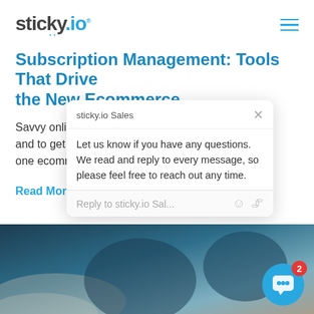sticky.io (logo) with hamburger menu
Subscription Management: Tools That Drive the New Ecommerce
Savvy online retailers and to get the best r one ecommerce plat
Read More
[Figure (screenshot): sticky.io Sales chat popup overlay with message: Let us know if you have any questions. We read and reply to every message, so please feel free to reach out any time. With reply input bar showing 'Reply to sticky.io Sal...' and emoji/attachment icons.]
[Figure (photo): Bottom section showing a blurred background photo of a person, dark blue/teal tones, with a blue chat bubble button in bottom right corner showing badge number 2.]